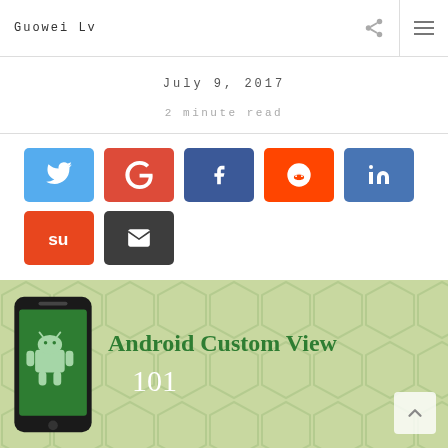Guowei Lv
July 9, 2017
2 minute read
[Figure (infographic): Social share buttons: Twitter (blue), Google+ (red), Facebook (dark blue), Reddit (orange), LinkedIn (blue), Stumbleupon (red-orange), Email (dark gray)]
[Figure (infographic): Android Custom View 101 banner with green background, hexagon pattern, phone illustration with Android logo, and bold green text]